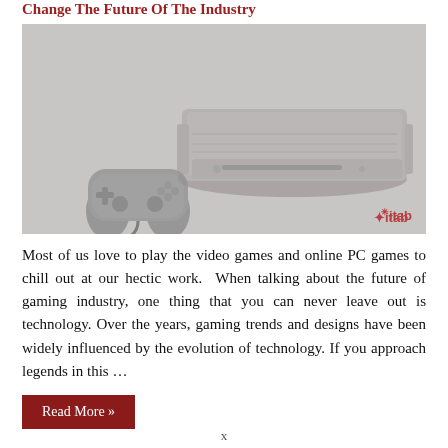Change The Future Of The Industry
[Figure (illustration): Gaming Trends banner image showing a PS2-style game console and controller on a grey background, with text 'Gaming Trends' and 'Citab' watermark in bottom right]
Most of us love to play the video games and online PC games to chill out at our hectic work.  When talking about the future of gaming industry, one thing that you can never leave out is technology. Over the years, gaming trends and designs have been widely influenced by the evolution of technology. If you approach legends in this …
Read More »